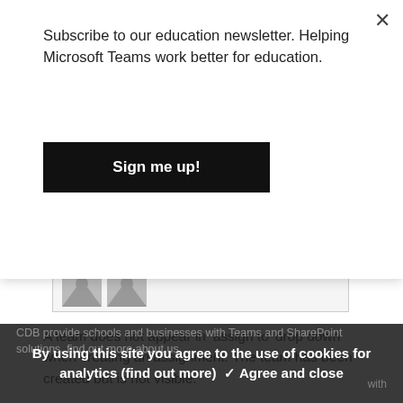Subscribe to our education newsletter. Helping Microsoft Teams work better for education.
Sign me up!
[Figure (screenshot): Partial avatar/profile image strip with grey placeholder icons]
A team does not appear in ‘assign to’ drop down when creating an assignment. The team has been created but is not visible.
Reply ↓
Tony Phillips Post authorApril 6, 2020 at
8:10 pm
CDB provide schools and businesses with Teams and SharePoint solutions, find out more about us.
By using this site you agree to the use of cookies for analytics (find out more) ✓ Agree and close